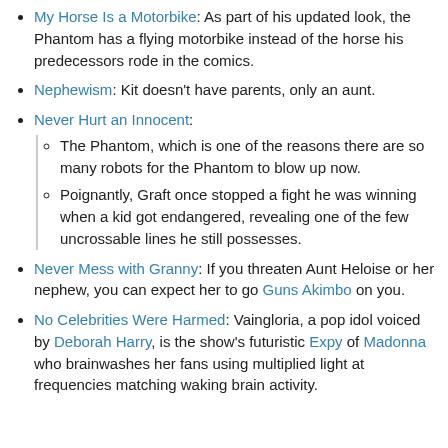My Horse Is a Motorbike: As part of his updated look, the Phantom has a flying motorbike instead of the horse his predecessors rode in the comics.
Nephewism: Kit doesn't have parents, only an aunt.
Never Hurt an Innocent:
The Phantom, which is one of the reasons there are so many robots for the Phantom to blow up now.
Poignantly, Graft once stopped a fight he was winning when a kid got endangered, revealing one of the few uncrossable lines he still possesses.
Never Mess with Granny: If you threaten Aunt Heloise or her nephew, you can expect her to go Guns Akimbo on you.
No Celebrities Were Harmed: Vaingloria, a pop idol voiced by Deborah Harry, is the show's futuristic Expy of Madonna who brainwashes her fans using multiplied light at frequencies matching waking brain activity.